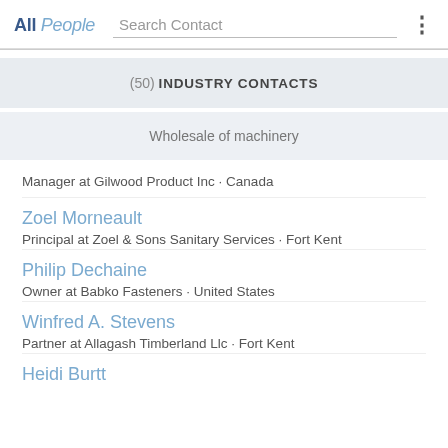All People | Search Contact
(50) INDUSTRY CONTACTS
Wholesale of machinery
Manager at Gilwood Product Inc · Canada
Zoel Morneault
Principal at Zoel & Sons Sanitary Services · Fort Kent
Philip Dechaine
Owner at Babko Fasteners · United States
Winfred A. Stevens
Partner at Allagash Timberland Llc · Fort Kent
Heidi Burtt